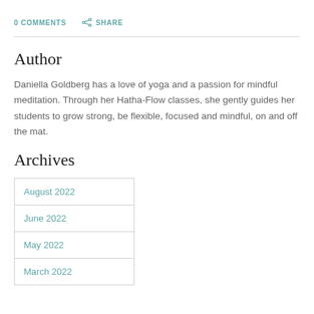0 COMMENTS   SHARE
Author
Daniella Goldberg has a love of yoga and a passion for mindful meditation. Through her Hatha-Flow classes, she gently guides her students to grow strong, be flexible, focused and mindful, on and off the mat.
Archives
August 2022
June 2022
May 2022
March 2022